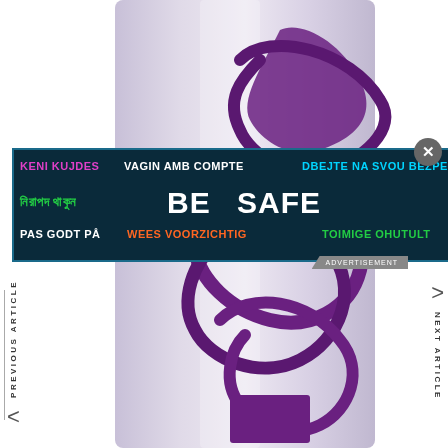[Figure (photo): Close-up photo of a lavender/silver cylindrical hair product bottle (Urban Decay hair setting spray) with purple cursive script on it, shown against a white background]
[Figure (infographic): Dark teal advertisement banner overlay with multilingual 'BE SAFE' safety message in multiple languages and colors: KENI KUJDES, VAGIN AMB COMPTE, DBEJTE NA SVOU BEZPECNOST, Bengali text, BE SAFE, AVETI GRIJA, PAS GODT PA, WEES VOORZICHTIG, TOIMIGE OHUTULT, CUIDESE]
PREVIOUS ARTICLE
NEXT ARTICLE
ADVERTISEMENT